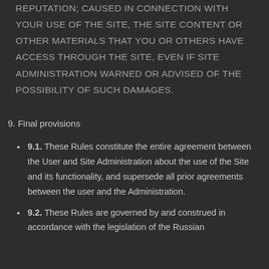REPUTATION; CAUSED IN CONNECTION WITH YOUR USE OF THE SITE, THE SITE CONTENT OR OTHER MATERIALS THAT YOU OR OTHERS HAVE ACCESS THROUGH THE SITE, EVEN IF SITE ADMINISTRATION WARNED OR ADVISED OF THE POSSIBILITY OF SUCH DAMAGES.
9. Final provisions
9.1. These Rules constitute the entire agreement between the User and Site Administration about the use of the Site and its functionality, and supersede all prior agreements between the user and the Administration.
9.2. These Rules are governed by and construed in accordance with the legislation of the Russian